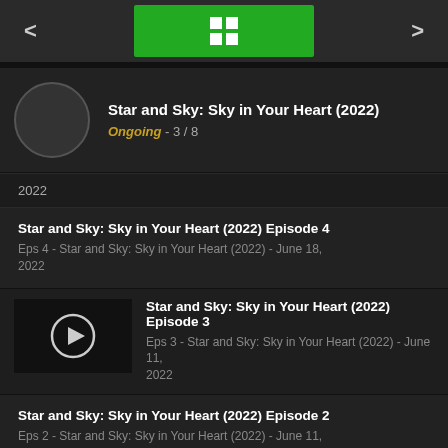< [grid icon] >
Star and Sky: Sky in Your Heart (2022)
Ongoing - 3 / 8
2022
Star and Sky: Sky in Your Heart (2022) Episode 4
Eps 4 - Star and Sky: Sky in Your Heart (2022) - June 18, 2022
[Figure (screenshot): Episode 3 thumbnail with play button icon]
Star and Sky: Sky in Your Heart (2022) Episode 3
Eps 3 - Star and Sky: Sky in Your Heart (2022) - June 11, 2022
Star and Sky: Sky in Your Heart (2022) Episode 2
Eps 2 - Star and Sky: Sky in Your Heart (2022) - June 11, 2022
Star and Sky: Sky in Your Heart 2022 Episode 1